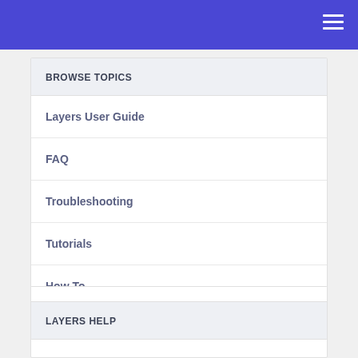BROWSE TOPICS
Layers User Guide
FAQ
Troubleshooting
Tutorials
How To
Product Guides
LAYERS HELP